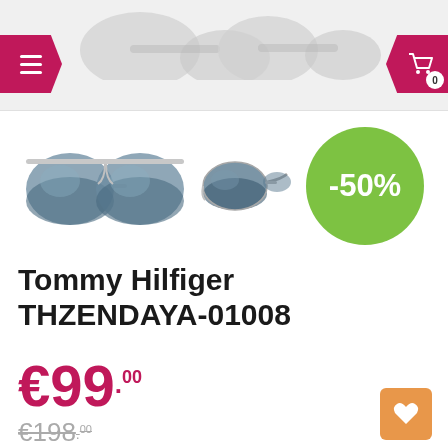[Figure (screenshot): Mobile e-commerce product page header with hamburger menu button (pink/magenta) on left, cart icon button (pink/magenta) with badge showing 0 on right, and partial gray sunglasses silhouettes visible at the top]
[Figure (photo): Two views of Tommy Hilfiger THZENDAYA-01008 sunglasses - front view showing round blue-gray gradient lenses with silver frame, and side/angle view]
[Figure (infographic): Green circular discount badge showing -50%]
Tommy Hilfiger THZENDAYA-01008
€99.00
€198.00